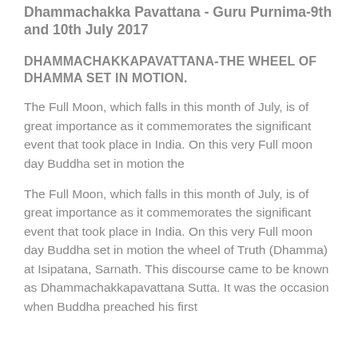Dhammachakka Pavattana - Guru Purnima-9th and 10th July 2017
DHAMMACHAKKAPAVATTANA-THE WHEEL OF DHAMMA SET IN MOTION.
The Full Moon, which falls in this month of July, is of great importance as it commemorates the significant event that took place in India. On this very Full moon day Buddha set in motion the
The Full Moon, which falls in this month of July, is of great importance as it commemorates the significant event that took place in India. On this very Full moon day Buddha set in motion the wheel of Truth (Dhamma) at Isipatana, Sarnath. This discourse came to be known as Dhammachakkapavattana Sutta. It was the occasion when Buddha preached his first